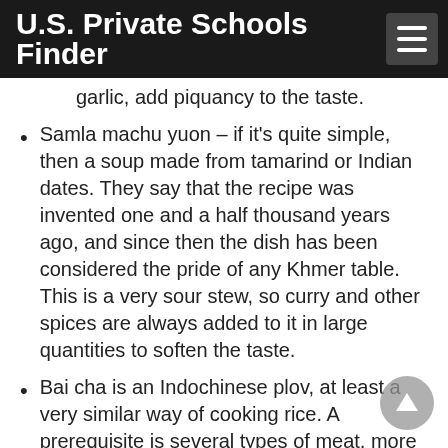U.S. Private Schools Finder
garlic, add piquancy to the taste.
Samla machu yuon – if it's quite simple, then a soup made from tamarind or Indian dates. They say that the recipe was invented one and a half thousand years ago, and since then the dish has been considered the pride of any Khmer table. This is a very sour stew, so curry and other spices are always added to it in large quantities to soften the taste.
Bai cha is an Indochinese plov, at least a very similar way of cooking rice. A prerequisite is several types of meat, more often shrimp and pork, chopped into cubes. So that the rice does not dry out in the pan, it is poured